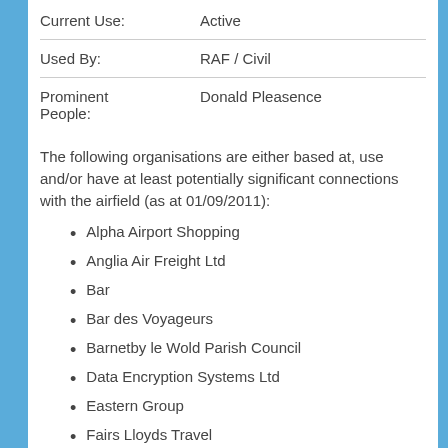| Current Use: | Active |
| Used By: | RAF / Civil |
| Prominent People: | Donald Pleasence |
The following organisations are either based at, use and/or have at least potentially significant connections with the airfield (as at 01/09/2011):
Alpha Airport Shopping
Anglia Air Freight Ltd
Bar
Bar des Voyageurs
Barnetby le Wold Parish Council
Data Encryption Systems Ltd
Eastern Group
Fairs Lloyds Travel
Global Aviation
Humberside Airport Travel